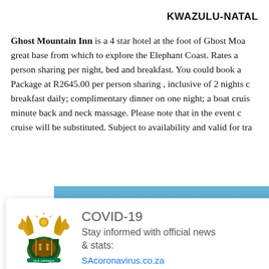KWAZULU-NATAL
Ghost Mountain Inn is a 4 star hotel at the foot of Ghost Mo... a great base from which to explore the Elephant Coast. Rates a... person sharing per night, bed and breakfast. You could book a ... Package at R2645.00 per person sharing , inclusive of 2 nights c... breakfast daily; complimentary dinner on one night; a boat cruis... minute back and neck massage. Please note that in the event c... cruise will be substituted. Subject to availability and valid for tra...
[Figure (photo): Blue sky/water background photo of a location on the Elephant Coast]
COVID-19
Stay informed with official news & stats:
SAcoronavirus.co.za